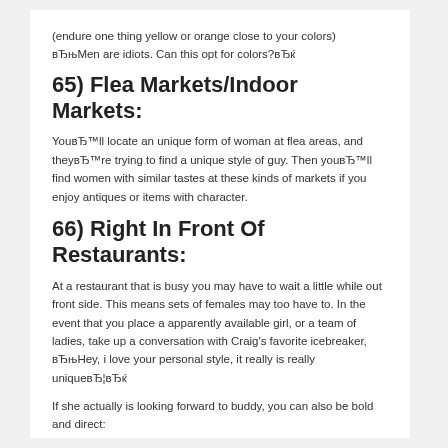(endure one thing yellow or orange close to your colors) вЂњMen are idiots. Can this opt for colors?вЂќ
65) Flea Markets/Indoor Markets:
YouвЂ™ll locate an unique form of woman at flea areas, and theyвЂ™re trying to find a unique style of guy. Then youвЂ™ll find women with similar tastes at these kinds of markets if you enjoy antiques or items with character.
66) Right In Front Of Restaurants:
At a restaurant that is busy you may have to wait a little while out front side. This means sets of females may too have to. In the event that you place a apparently available girl, or a team of ladies, take up a conversation with Craig's favorite icebreaker, вЂњHey, i love your personal style, it really is really uniqueвЂ¦вЂќ
If she actually is looking forward to buddy, you can also be bold and direct:
вЂ¢ She's taking a long time. Come up in with herвЂ¦she can